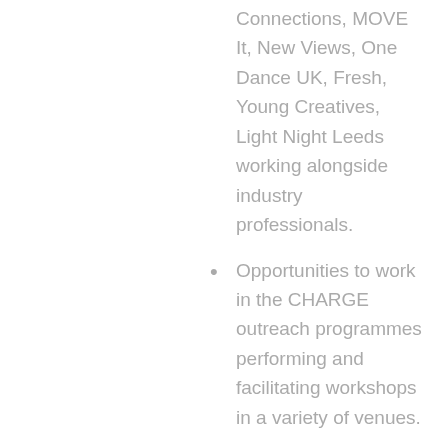Connections, MOVE It, New Views, One Dance UK, Fresh, Young Creatives, Light Night Leeds working alongside industry professionals.
Opportunities to work in the CHARGE outreach programmes performing and facilitating workshops in a variety of venues.
EXPERT GUIDANCE
Regular 121 meetings with their tutor to discuss career